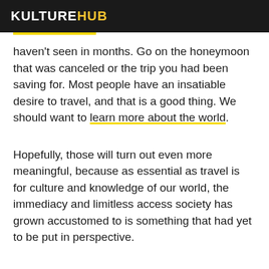KULTUREHUB
haven't seen in months. Go on the honeymoon that was canceled or the trip you had been saving for. Most people have an insatiable desire to travel, and that is a good thing. We should want to learn more about the world.
Hopefully, those will turn out even more meaningful, because as essential as travel is for culture and knowledge of our world, the immediacy and limitless access society has grown accustomed to is something that had yet to be put in perspective.
It's difficult to realize just how many planes were in x